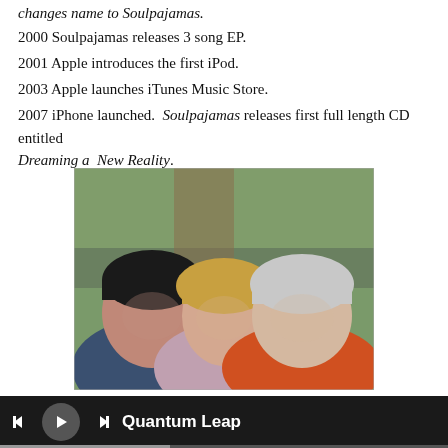changes name to Soulpajamas.
2000 Soulpajamas releases 3 song EP.
2001 Apple introduces the first iPod.
2003 Apple launches iTunes Music Store.
2007 iPhone launched.  Soulpajamas releases first full length CD entitled Dreaming a  New Reality.
[Figure (photo): Three people posing together smiling: a man with dark hair on the left in a blue shirt, a woman with blonde hair in the center in a floral top, and an older man with white hair on the right in an orange shirt.]
2009 Dan joins forces with Chapter Three
2011 Soulpajamas releases Reaching for the Sun, their 2nd full length
Quantum Leap